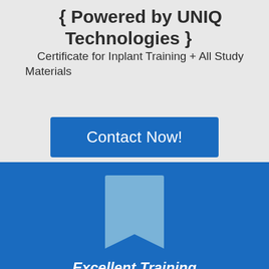{ Powered by UNIQ Technologies }
Certificate for Inplant Training + All Study Materials
Contact Now!
[Figure (illustration): A bookmark ribbon icon in light blue on a blue background]
Excellent Training